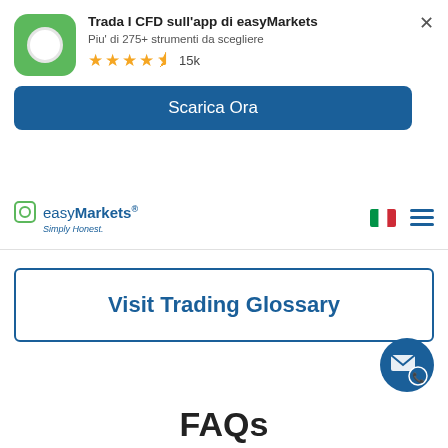[Figure (screenshot): easyMarkets app promotional banner with green app icon, title 'Trada I CFD sull'app di easyMarkets', subtitle 'Piu' di 275+ strumenti da scegliere', 4.5 star rating with 15k reviews, and a blue 'Scarica Ora' download button]
[Figure (logo): easyMarkets logo with green square icon, 'easyMarkets Simply Honest.' text, Italian flag, and hamburger menu]
Visit Trading Glossary
[Figure (other): Blue circular contact/chat button with envelope and phone icons]
FAQs